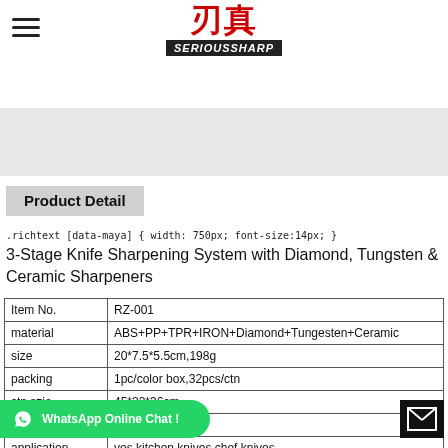[Figure (logo): SeriousSharp brand logo with Chinese characters in red and English brand name in black italic banner]
[Figure (photo): Grey banner/product image area]
Product Detail
.richtext [data-maya] { width: 750px; font-size:14px; }
3-Stage Knife Sharpening System with Diamond, Tungsten & Ceramic Sharpeners
| Item No. | RZ-001 |
| material | ABS+PP+TPR+IRON+Diamond+Tungesten+Ceramic |
| size | 20*7.5*5.5cm,198g |
| packing | 1pc/color box,32pcs/ctn |
| ctn szie | 45*22*36cm |
| G.W/N.W | 8.5/7.5kg |
| application | ves,kitchen knives,chef knives |
WhatsApp Online Chat !